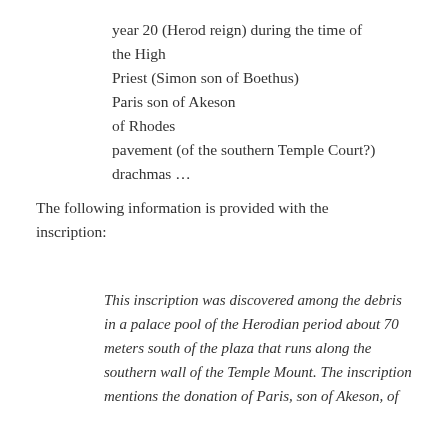year 20 (Herod reign) during the time of the High
Priest (Simon son of Boethus)
Paris son of Akeson
of Rhodes
pavement (of the southern Temple Court?)
drachmas …
The following information is provided with the inscription:
This inscription was discovered among the debris in a palace pool of the Herodian period about 70 meters south of the plaza that runs along the southern wall of the Temple Mount. The inscription mentions the donation of Paris, son of Akeson, of